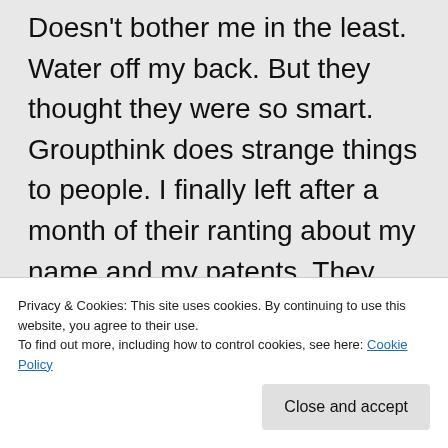Doesn't bother me in the least. Water off my back. But they thought they were so smart. Groupthink does strange things to people. I finally left after a month of their ranting about my name and my patents. They said I was a liar about my patents. Then half of them found them on the net, the other half didn't know they WERE found and kept up the rant. What a laugh again. I get
Privacy & Cookies: This site uses cookies. By continuing to use this website, you agree to their use.
To find out more, including how to control cookies, see here: Cookie Policy